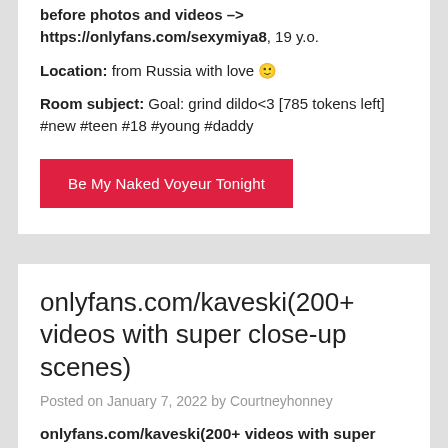You will find exclusive, never seen before photos and videos -> https://onlyfans.com/sexymiya8, 19 y.o.
Location: from Russia with love 🙂
Room subject: Goal: grind dildo<3 [785 tokens left] #new #teen #18 #young #daddy
Be My Naked Voyeur Tonight
onlyfans.com/kaveski(200+ videos with super close-up scenes)
Posted on January 7, 2022 by Courtneyhonney
onlyfans.com/kaveski(200+ videos with super